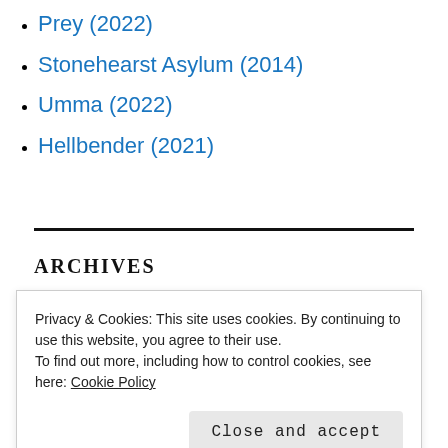Prey (2022)
Stonehearst Asylum (2014)
Umma (2022)
Hellbender (2021)
ARCHIVES
August 2022
July 2022
Privacy & Cookies: This site uses cookies. By continuing to use this website, you agree to their use.
To find out more, including how to control cookies, see here: Cookie Policy
February 2022